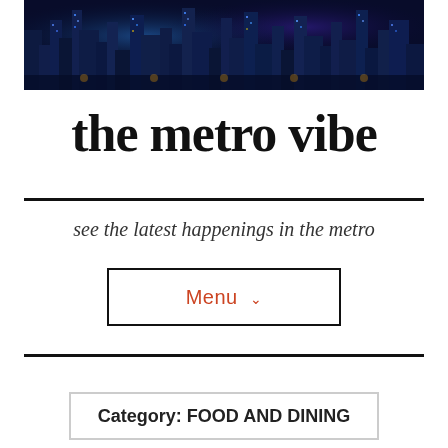[Figure (photo): Aerial night view of a city skyline with illuminated skyscrapers and blue-toned lighting]
the metro vibe
see the latest happenings in the metro
Menu ˅
Category: FOOD AND DINING